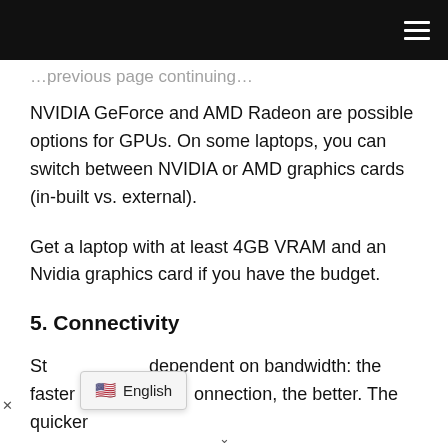≡
NVIDIA GeForce and AMD Radeon are possible options for GPUs. On some laptops, you can switch between NVIDIA or AMD graphics cards (in-built vs. external).
Get a laptop with at least 4GB VRAM and an Nvidia graphics card if you have the budget.
5. Connectivity
Streaming is dependent on bandwidth: the faster your connection, the better. The quicker